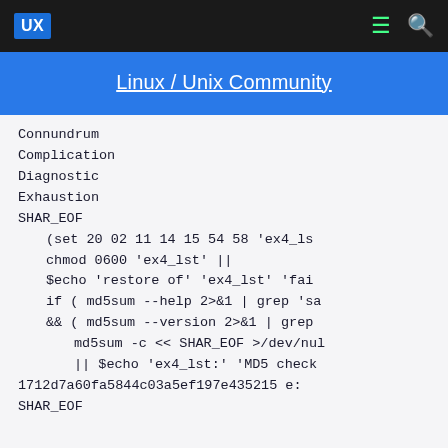UX  Linux / Unix Community
Linux / Unix Community
Connundrum
Complication
Diagnostic
Exhaustion
SHAR_EOF
    (set 20 02 11 14 15 54 58 'ex4_ls'
    chmod 0600 'ex4_lst' ||
    $echo 'restore of' 'ex4_lst' 'fai
    if ( md5sum --help 2>&1 | grep 'sa
    && ( md5sum --version 2>&1 | grep
        md5sum -c << SHAR_EOF >/dev/nul
        || $echo 'ex4_lst:' 'MD5 check
1712d7a60fa5844c03a5ef197e435215  e:
SHAR_EOF